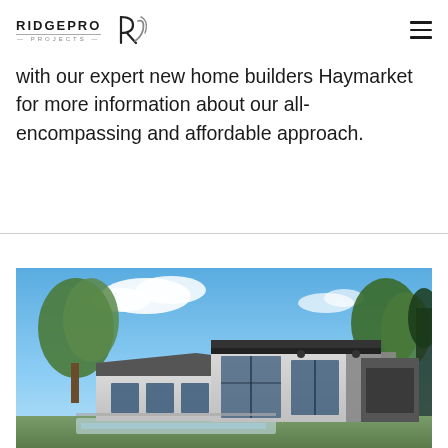RIDGEPRO PROJECTS
with our expert new home builders Haymarket for more information about our all-encompassing and affordable approach.
[Figure (photo): Exterior photograph of a modern single-storey home with flat and angled roof sections, large glass windows and sliding doors, rendered light grey walls, surrounded by trees under a blue sky with clouds.]